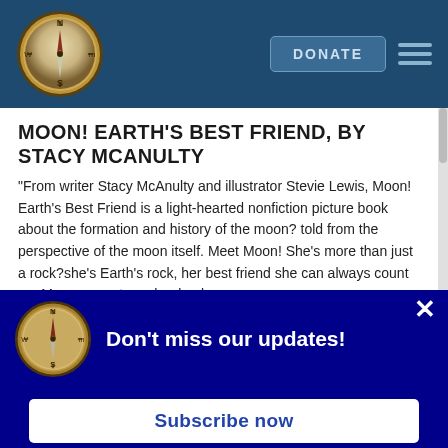[Figure (logo): Compass rose logo in header]
MOON! EARTH'S BEST FRIEND, BY STACY MCANULTY
“From writer Stacy McAnulty and illustrator Stevie Lewis, Moon! Earth's Best Friend is a light-hearted nonfiction picture book about the formation and history of the moon? told from the perspective of the moon itself. Meet Moon! She's more than just a rock?she’s Earth’s rock, her best friend she can always count on. Moon never turns her back
[Figure (logo): Compass rose logo in popup overlay]
Don't miss our updates!
Subscribe now